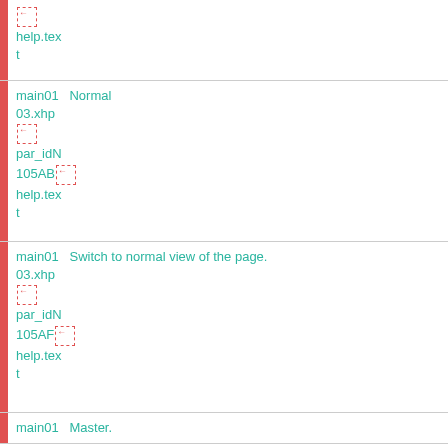| [icon] help.text |
| main01 03.xhp | Normal | [icon] par_idN 105AB [icon] help.text |
| main01 03.xhp | Switch to normal view of the page. | [icon] par_idN 105AF [icon] help.text |
| main01 | Master... |